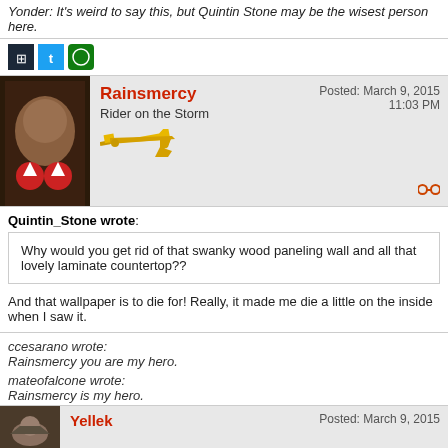Yonder: It's weird to say this, but Quintin Stone may be the wisest person here.
[Figure (screenshot): Social media icons: Steam (black), Twitter (blue), Xbox (green)]
[Figure (photo): User avatar photo of Rainsmercy with Christmas hats, username Rainsmercy in red, title Rider on the Storm, airplane emoji, posted March 9, 2015 11:03 PM, chain link icon]
Quintin_Stone wrote:
Why would you get rid of that swanky wood paneling wall and all that lovely laminate countertop??
And that wallpaper is to die for! Really, it made me die a little on the inside when I saw it.
ccesarano wrote:
Rainsmercy you are my hero.
mateofalcone wrote:
Rainsmercy is my hero.
lostlobster wrote:
Rainsmercy, if I say you're my hero do I get to be in your sig?
[Figure (screenshot): Next post header: Yellek username in red, Posted: March 9, 2015, cat avatar photo]